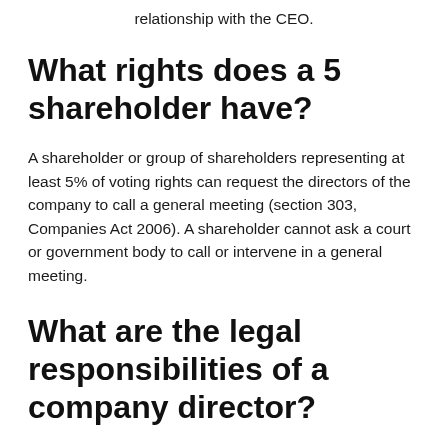relationship with the CEO.
What rights does a 5 shareholder have?
A shareholder or group of shareholders representing at least 5% of voting rights can request the directors of the company to call a general meeting (section 303, Companies Act 2006). A shareholder cannot ask a court or government body to call or intervene in a general meeting.
What are the legal responsibilities of a company director?